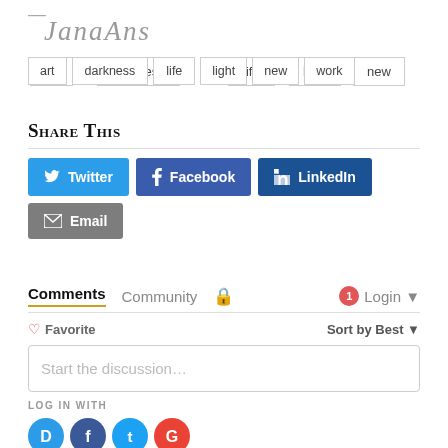[Figure (logo): Handwritten signature/logo text]
art
darkness
life
light
new
work
Share This
Twitter  Facebook  LinkedIn  Email
Comments  Community  Login  Favorite  Sort by Best
Start the discussion…
LOG IN WITH